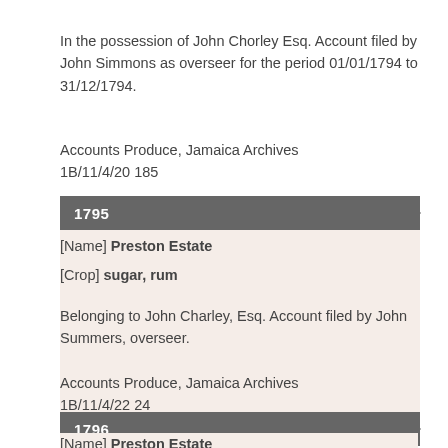In the possession of John Chorley Esq. Account filed by John Simmons as overseer for the period 01/01/1794 to 31/12/1794.
Accounts Produce, Jamaica Archives
1B/11/4/20 185
1795
[Name] Preston Estate
[Crop] sugar, rum
Belonging to John Charley, Esq. Account filed by John Summers, overseer.
Accounts Produce, Jamaica Archives
1B/11/4/22 24
1796
[Name] Preston Estate